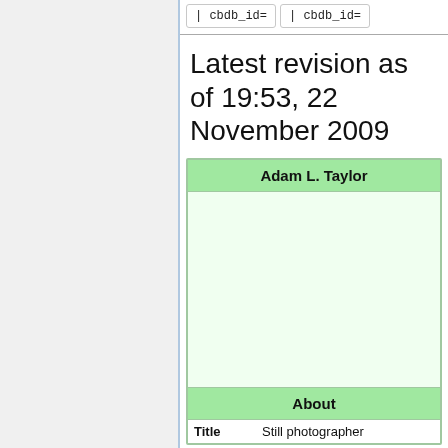| cbdb_id=   | cbdb_id=
Latest revision as of 19:53, 22 November 2009
| Adam L. Taylor |
|  |
| About |
| Title | Still photographer |